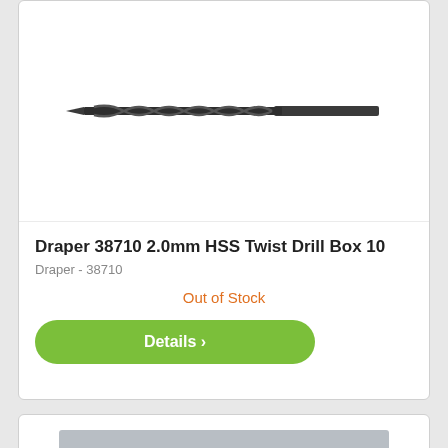[Figure (photo): A black HSS twist drill bit shown horizontally against a white background]
Draper 38710 2.0mm HSS Twist Drill Box 10
Draper - 38710
Out of Stock
Details >
[Figure (photo): A blue and gold/brass hand drill / brace with chuck visible, partially shown at bottom of page]